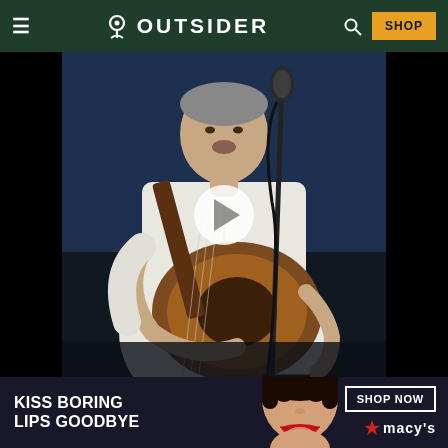OUTSIDER
[Figure (photo): A man in a white shirt playing an acoustic guitar and singing into a microphone on stage. A white play button overlay is centered on the image.]
[Figure (photo): Advertisement banner: KISS BORING LIPS GOODBYE with a woman's face and red lips, SHOP NOW button, and Macy's star logo.]